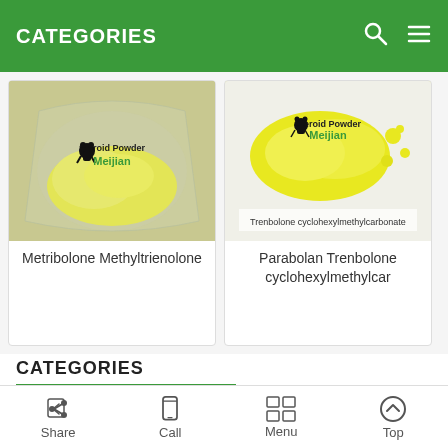CATEGORIES
[Figure (photo): Yellow powder in plastic bag with Steroid Powder Meijian logo watermark — Metribolone Methyltrienolone product photo]
Metribolone Methyltrienolone
[Figure (photo): Yellow powder on white surface with Steroid Powder Meijian logo and text 'Trenbolone cyclohexylmethylcarbonate' — Parabolan Trenbolone product photo]
Parabolan Trenbolone cyclohexylmethylcar
CATEGORIES
Gain Muscle powder
Testosterone Powder
Share  Call  Menu  Top